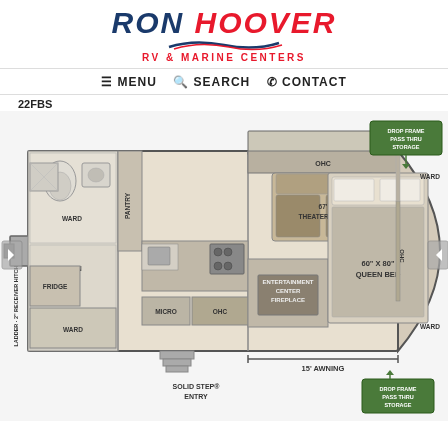[Figure (logo): Ron Hoover RV & Marine Centers logo with blue and red text and swoosh graphic]
≡ MENU   🔍 SEARCH   📞 CONTACT
22FBS
[Figure (engineering-diagram): Floor plan diagram of RV model 22FBS showing top-down view with labeled areas: OHC, 67' Theater Seat, Pantry, Linen, Fridge, Ward, Micro, OHC, Ward, Entertainment Center Fireplace, 60x80 Queen Bed, OHC, Ward, Drop Frame Pass Thru Storage (x2), 15' Awning, Solid Step Entry, Ladder 2 Receiver Hitch]